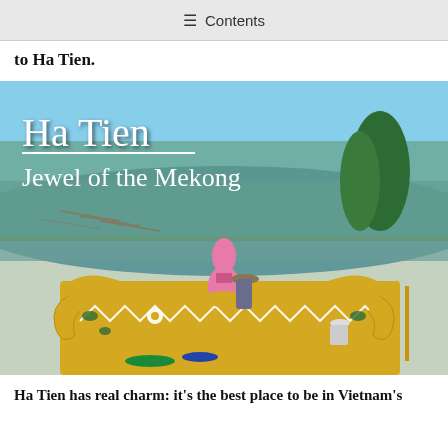≡ Contents
to Ha Tien.
[Figure (photo): A photograph of Ha Tien showing a person in a conical hat working on a colorful yellow and white ornamental temple rooftop decoration with a pink vase/finial, overlooking a river delta with fish farms and green landscape in the background. The image has text overlay reading 'Ha Tien / Jewel of the Mekong'.]
Ha Tien has real charm: it's the best place to be in Vietnam's